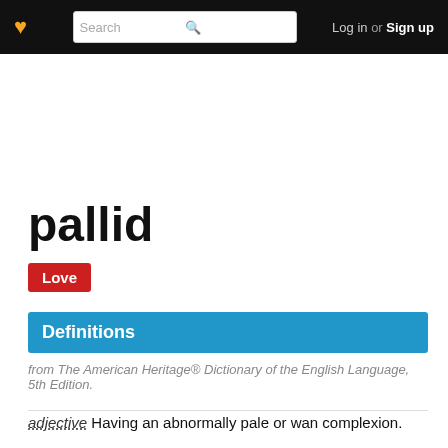❤ Search Log in or Sign up
pallid
Love
Definitions
from The American Heritage® Dictionary of the English Language, 5th Edition.
adjective Having an abnormally pale or wan complexion.